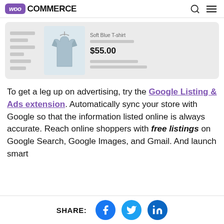WooCommerce
[Figure (screenshot): WooCommerce product page screenshot showing a soft blue t-shirt with price $55.00]
To get a leg up on advertising, try the Google Listing & Ads extension. Automatically sync your store with Google so that the information listed online is always accurate. Reach online shoppers with free listings on Google Search, Google Images, and Gmail. And launch smart shopping campaigns straight from…
SHARE: [Facebook] [Twitter] [LinkedIn]